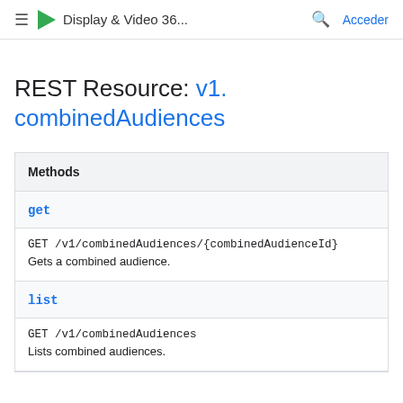≡ ▶ Display & Video 36... 🔍 Acceder
REST Resource: v1.combinedAudiences
| Methods |
| --- |
| get | GET /v1/combinedAudiences/{combinedAudienceId}
Gets a combined audience. |
| list | GET /v1/combinedAudiences
Lists combined audiences. |